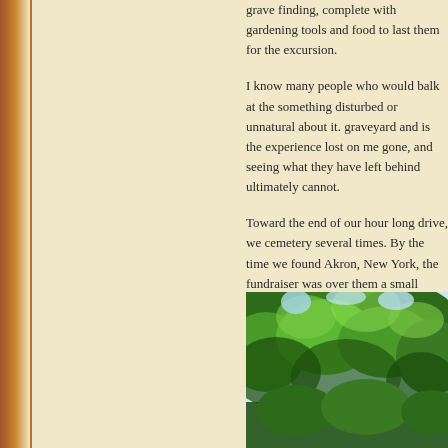grave finding, complete with gardening tools and food to last them for the excursion.
I know many people who would balk at the something disturbed or unnatural about it. graveyard and is the experience lost on me gone, and seeing what they have left behind ultimately cannot.
Toward the end of our hour long drive, we cemetery several times. By the time we found Akron, New York, the fundraiser was over them a small donation, and one of the Boy offered us two sodas.
I walked around for a bit, taking pictures of thought had the potential to. I find few things a walk through the gravestones. We ended our way home, which I will save for posts
Here is the Flickr album I created for my a cemetery.
[Figure (photo): View looking up through a canopy of green leafy trees against a bright sky]